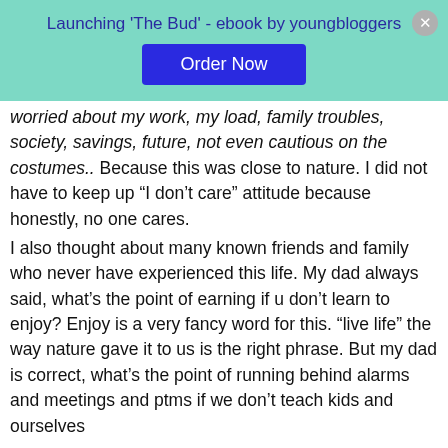[Figure (infographic): Promotional banner with teal background showing 'Launching The Bud - ebook by youngbloggers' with an 'Order Now' button and a close (X) button]
worried about my work, my load, family troubles, society, savings, future, not even cautious on the costumes.. Because this was close to nature. I did not have to keep up “I don’t care” attitude because honestly, no one cares.
I also thought about many known friends and family who never have experienced this life. My dad always said, what’s the point of earning if u don’t learn to enjoy? Enjoy is a very fancy word for this. “live life” the way nature gave it to us is the right phrase. But my dad is correct, what’s the point of running behind alarms and meetings and ptms if we don’t teach kids and ourselves